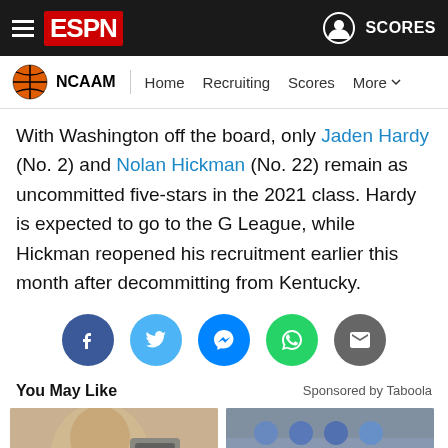ESPN NCAAM | Home | Recruiting | Scores | More
With Washington off the board, only Jaden Hardy (No. 2) and Nolan Hickman (No. 22) remain as uncommitted five-stars in the 2021 class. Hardy is expected to go to the G League, while Hickman reopened his recruitment earlier this month after decommitting from Kentucky.
[Figure (infographic): Social share buttons: Facebook, Twitter, Messenger, WhatsApp, Email]
You May Like   Sponsored by Taboola
[Figure (photo): Man holding a device, promotional image]
[Figure (photo): Blue pills in blister packaging]